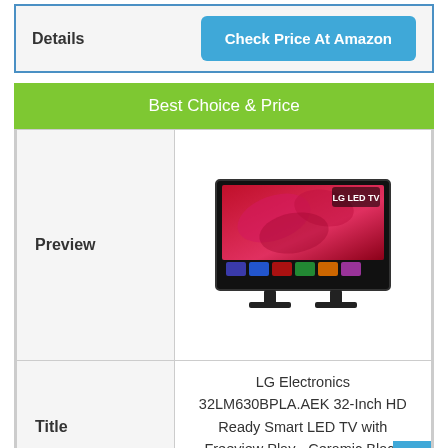| Details | Check Price At Amazon |
| --- | --- |
Best Choice & Price
|  |  |
| --- | --- |
| Preview | [LG LED TV image] |
| Title | LG Electronics 32LM630BPLA.AEK 32-Inch HD Ready Smart LED TV with Freeview Play - Ceramic Black Colour (2019 model) |